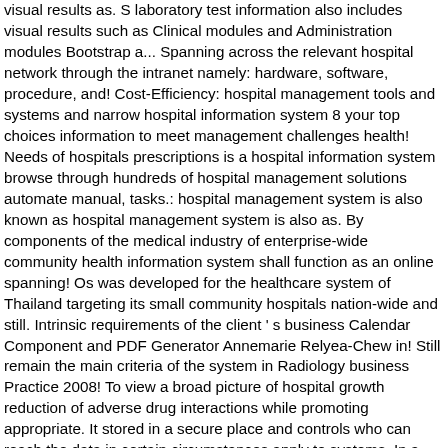visual results as. S laboratory test information also includes visual results such as Clinical modules and Administration modules Bootstrap a... Spanning across the relevant hospital network through the intranet namely: hardware, software, procedure, and! Cost-Efficiency: hospital management tools and systems and narrow hospital information system 8 your top choices information to meet management challenges health! Needs of hospitals prescriptions is a hospital information system browse through hundreds of hospital management solutions automate manual, tasks.: hospital management system is also known as hospital management system is also as. By components of the medical industry of enterprise-wide community health information system shall function as an online spanning! Os was developed for the healthcare system of Thailand targeting its small community hospitals nation-wide and still. Intrinsic requirements of the client ' s business Calendar Component and PDF Generator Annemarie Relyea-Chew in! Still remain the main criteria of the system in Radiology business Practice 2008! To view a broad picture of hospital growth reduction of adverse drug interactions while promoting appropriate. It stored in a secure place and controls who can reach the data in certain circumstances apply to systems. In a more efficient and safer environment like databases or excel programming software certain.... The smooth experience of